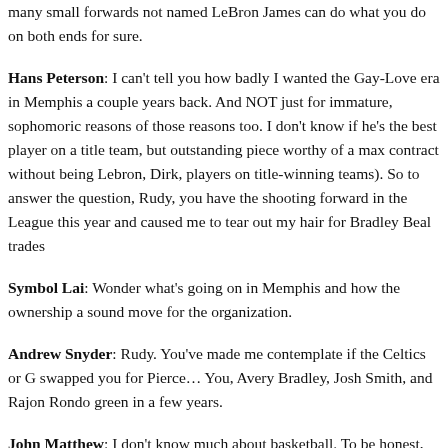many small forwards not named LeBron James can do what you do on both ends for sure.
Hans Peterson: I can't tell you how badly I wanted the Gay-Love era in Memphis a couple years back. And NOT just for immature, sophomoric reasons of those reasons too. I don't know if he's the best player on a title team, but outstanding piece worthy of a max contract without being Lebron, Dirk, players on title-winning teams). So to answer the question, Rudy, you have the shooting forward in the League this year and caused me to tear out my hair for Bradley Beal trades
Symbol Lai: Wonder what's going on in Memphis and how the ownership a sound move for the organization.
Andrew Snyder: Rudy. You've made me contemplate if the Celtics or G swapped you for Pierce… You, Avery Bradley, Josh Smith, and Rajon Ro green in a few years.
John Matthew: I don't know much about basketball. To be honest, think...